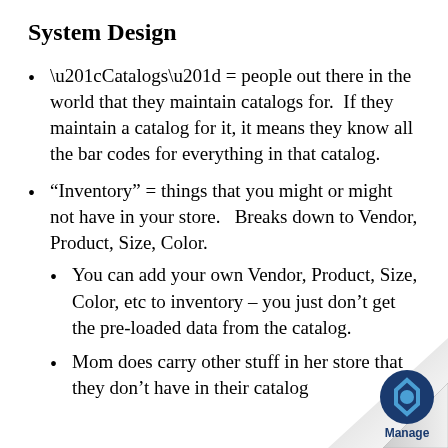System Design
“Catalogs” = people out there in the world that they maintain catalogs for.  If they maintain a catalog for it, it means they know all the bar codes for everything in that catalog.
“Inventory” = things that you might or might not have in your store.   Breaks down to Vendor, Product, Size, Color.
You can add your own Vendor, Product, Size, Color, etc to inventory – you just don’t get the pre-loaded data from the catalog.
Mom does carry other stuff in her store that they don’t have in their catalog